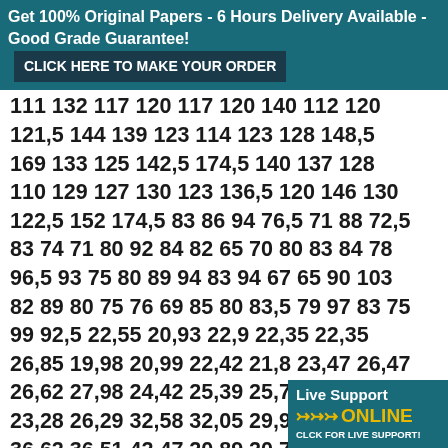Get 100% Original Papers - 6 Hours Delivery Available - Good Grade Guarantee! CLICK HERE TO MAKE YOUR ORDER
111 132 117 120 117 120 140 112 120
121,5 144 139 123 114 123 128 148,5
169 133 125 142,5 174,5 140 137 128
110 129 127 130 123 136,5 120 146 130
122,5 152 174,5 83 86 94 76,5 71 88 72,5
83 74 71 80 92 84 82 65 70 80 83 84 78
96,5 93 75 80 89 94 83 94 67 65 90 103
82 89 80 75 76 69 85 80 83,5 79 97 83 75
99 92,5 22,55 20,93 22,9 22,35 22,35
26,85 19,98 20,99 22,42 21,8 23,47 26,47
26,62 27,98 24,42 25,39 25,72 22,36
23,28 26,29 32,58 32,05 29,94 26,6 27,61
36,62 36,51 42,47 20,89 20,71 22,63
29,82 22,18 22,51 21,18 16,69 2...
26,76 25,79 25,79 21,33 23,09 2...
26,44 24,56 24,93 27,13 0,0,0...